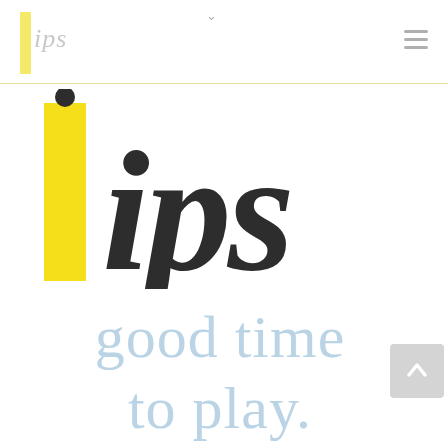ips
[Figure (logo): IPS logo: large yellow vertical bar beside bold italic 'ips' text in dark charcoal]
good time to play.